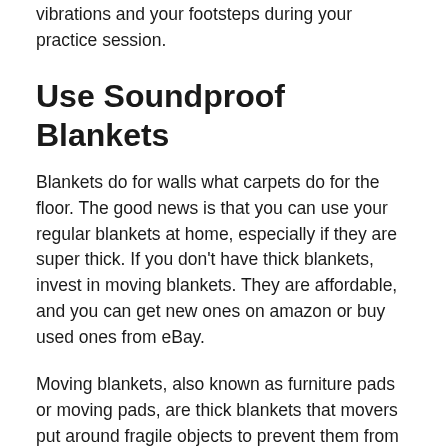vibrations and your footsteps during your practice session.
Use Soundproof Blankets
Blankets do for walls what carpets do for the floor. The good news is that you can use your regular blankets at home, especially if they are super thick. If you don't have thick blankets, invest in moving blankets. They are affordable, and you can get new ones on amazon or buy used ones from eBay.
Moving blankets, also known as furniture pads or moving pads, are thick blankets that movers put around fragile objects to prevent them from breaking while on the move. They are a sweet deal as they come in bulk in